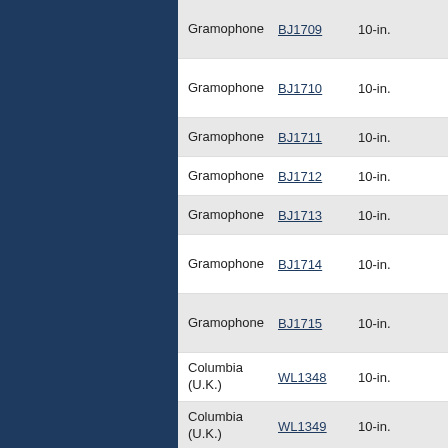| Label | ID | Size |
| --- | --- | --- |
| Gramophone | BJ1709 | 10-in. |
| Gramophone | BJ1710 | 10-in. |
| Gramophone | BJ1711 | 10-in. |
| Gramophone | BJ1712 | 10-in. |
| Gramophone | BJ1713 | 10-in. |
| Gramophone | BJ1714 | 10-in. |
| Gramophone | BJ1715 | 10-in. |
| Columbia (U.K.) | WL1348 | 10-in. |
| Columbia (U.K.) | WL1349 | 10-in. |
| Columbia (U.K.) | WL1350 | 10-in. |